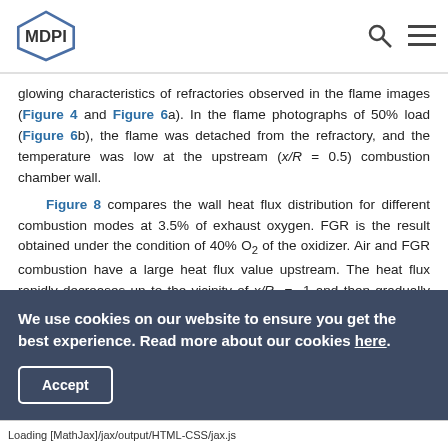MDPI
glowing characteristics of refractories observed in the flame images (Figure 4 and Figure 6a). In the flame photographs of 50% load (Figure 6b), the flame was detached from the refractory, and the temperature was low at the upstream (x/R = 0.5) combustion chamber wall.
Figure 8 compares the wall heat flux distribution for different combustion modes at 3.5% of exhaust oxygen. FGR is the result obtained under the condition of 40% O2 of the oxidizer. Air and FGR combustion have a large heat flux value upstream. The heat flux rapidly decreases up to the vicinity of x/R = 1 and then gradually decreases after x/R = 1. Quantitatively, FGR has a higher heat flux value than air
We use cookies on our website to ensure you get the best experience. Read more about our cookies here.
Accept
Loading [MathJax]/jax/output/HTML-CSS/jax.js